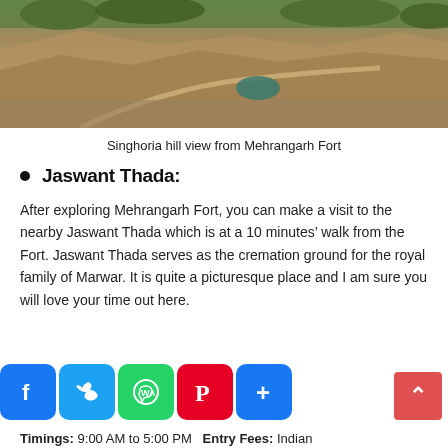[Figure (photo): Aerial view of Singhoria hill area as seen from Mehrangarh Fort, showing dry rocky terrain with a small lake/pond visible]
Singhoria hill view from Mehrangarh Fort
Jaswant Thada:
After exploring Mehrangarh Fort, you can make a visit to the nearby Jaswant Thada which is at a 10 minutes’ walk from the Fort. Jaswant Thada serves as the cremation ground for the royal family of Marwar. It is quite a picturesque place and I am sure you will love your time out here.
Timings: 9:00 AM to 5:00 PM  Entry Fees: Indian